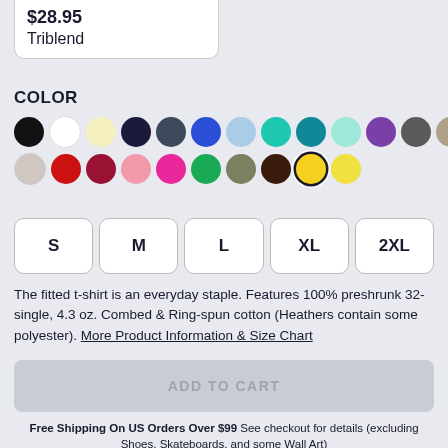$28.95
Triblend
COLOR
[Figure (infographic): Color swatches in two rows: black, white, light yellow, navy, dark slate, royal blue, light blue, teal, dark teal, light teal, purple, dark gray, tan, light gray, red, dark red, pink, hot pink, green, olive, dark brown, yellow (selected), bright yellow]
[Figure (infographic): Size selection buttons: S, M, L, XL, 2XL]
The fitted t-shirt is an everyday staple. Features 100% preshrunk 32-single, 4.3 oz. Combed & Ring-spun cotton (Heathers contain some polyester). More Product Information & Size Chart
ADD TO CART
Free Shipping On US Orders Over $99 See checkout for details (excluding Shoes, Skateboards, and some Wall Art)